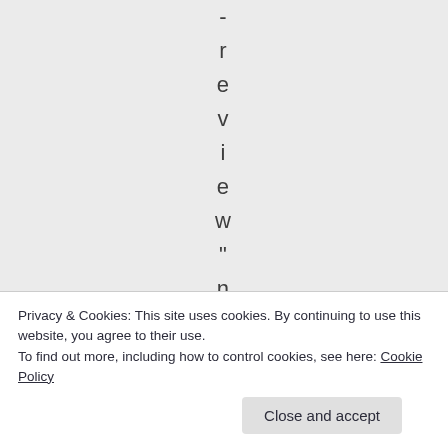- r e v i e w " n e
Privacy & Cookies: This site uses cookies. By continuing to use this website, you agree to their use.
To find out more, including how to control cookies, see here: Cookie Policy
Close and accept